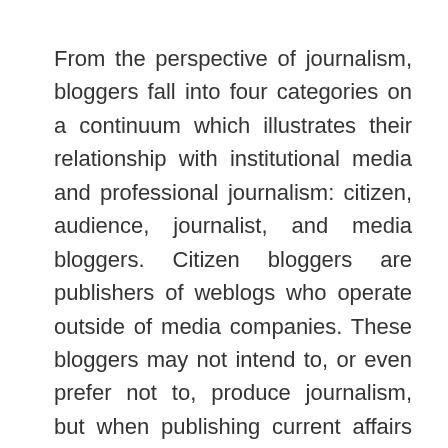From the perspective of journalism, bloggers fall into four categories on a continuum which illustrates their relationship with institutional media and professional journalism: citizen, audience, journalist, and media bloggers. Citizen bloggers are publishers of weblogs who operate outside of media companies. These bloggers may not intend to, or even prefer not to, produce journalism, but when publishing current affairs information they may “commit journalism” (Lasica 2002). Citizen bloggers may adopt roles as media commentators, specialized writers, or amateur reporters. Some bloggers monitor professional journalists, exposing on so-called watchblogs the deficiencies in journalists’ work. Sometimes eyewitnesses turn into occasional citizen reporters by publishing on blogs first-